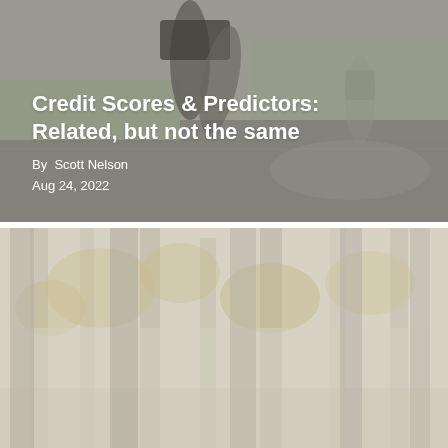[Figure (photo): Background photo showing a runner's legs on a road, muted gray-green tones]
Credit Scores & Predictors: Related, but not the same
By  Scott Nelson
Aug 24, 2022
[Figure (photo): Background photo showing a misty autumn forest with tall trees and golden foliage, desaturated warm tones]